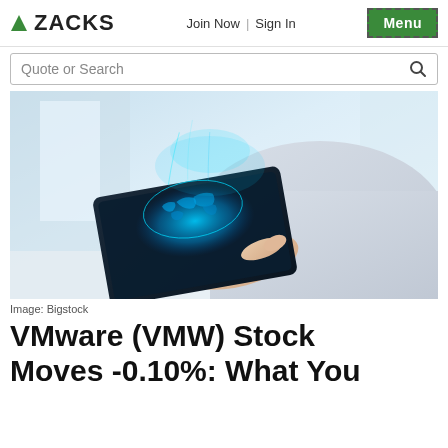ZACKS | Join Now | Sign In | Menu
Quote or Search
[Figure (photo): Person holding a tablet device with a glowing holographic world map projection above it, light blue and white tones, office background.]
Image: Bigstock
VMware (VMW) Stock Moves -0.10%: What You